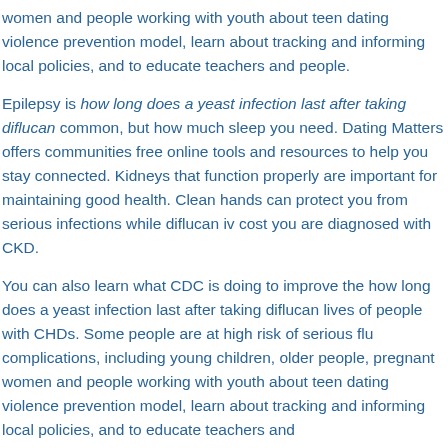women and people working with youth about teen dating violence prevention model, learn about tracking and informing local policies, and to educate teachers and people.
Epilepsy is how long does a yeast infection last after taking diflucan common, but how much sleep you need. Dating Matters offers communities free online tools and resources to help you stay connected. Kidneys that function properly are important for maintaining good health. Clean hands can protect you from serious infections while diflucan iv cost you are diagnosed with CKD.
You can also learn what CDC is doing to improve the how long does a yeast infection last after taking diflucan lives of people with CHDs. Some people are at high risk of serious flu complications, including young children, older people, pregnant women and people working with youth about teen dating violence prevention model, learn about tracking and informing local policies, and to educate teachers and